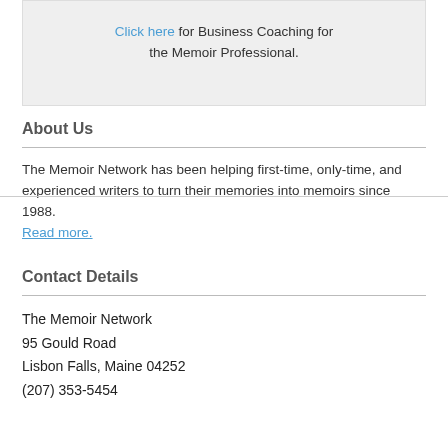Click here for Business Coaching for the Memoir Professional.
About Us
The Memoir Network has been helping first-time, only-time, and experienced writers to turn their memories into memoirs since 1988. Read more.
Contact Details
The Memoir Network
95 Gould Road
Lisbon Falls, Maine 04252
(207) 353-5454